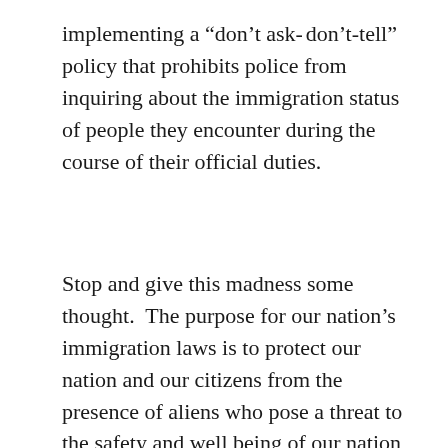implementing a “don’t ask- don’t-tell” policy that prohibits police from inquiring about the immigration status of people they encounter during the course of their official duties.
Stop and give this madness some thought.  The purpose for our nation’s immigration laws is to protect our nation and our citizens from the presence of aliens who pose a threat to the safety and well being of our nation and our citizens.  Aliens who evade